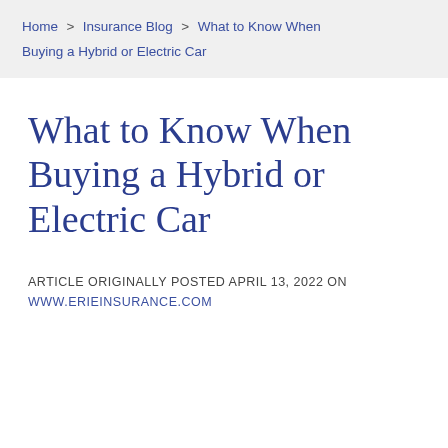Home > Insurance Blog > What to Know When Buying a Hybrid or Electric Car
What to Know When Buying a Hybrid or Electric Car
ARTICLE ORIGINALLY POSTED APRIL 13, 2022 ON WWW.ERIEINSURANCE.COM